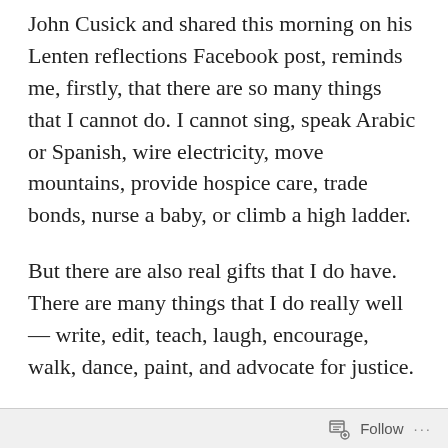John Cusick and shared this morning on his Lenten reflections Facebook post, reminds me, firstly, that there are so many things that I cannot do. I cannot sing, speak Arabic or Spanish, wire electricity, move mountains, provide hospice care, trade bonds, nurse a baby, or climb a high ladder.
But there are also real gifts that I do have. There are many things that I do really well — write, edit, teach, laugh, encourage, walk, dance, paint, and advocate for justice.
When I was a kid, we had a poster in the kitchen, something like: 'You are beautifully made. God doesn't make junk.' I believe it was a contemporary version of the Psalms: 'You are beautifully and powerfully made.'
Follow ···